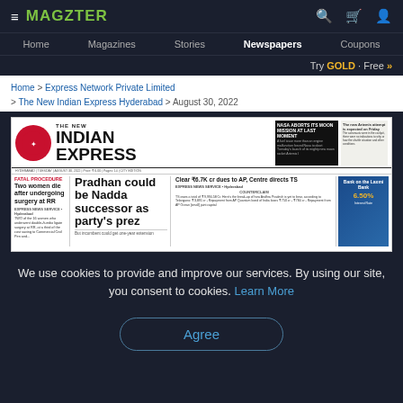≡ MAGZTER
Home | Magazines | Stories | Newspapers | Coupons
Try GOLD - Free >>
Home > Express Network Private Limited > The New Indian Express Hyderabad > August 30, 2022
[Figure (screenshot): Front page of The New Indian Express Hyderabad newspaper dated August 30, 2022, showing headlines: 'Pradhan could be Nadda successor as party's prez', 'Clear ₹6.7K cr dues to AP, Centre directs TS', 'Two women die after undergoing surgery at RR']
We use cookies to provide and improve our services. By using our site, you consent to cookies. Learn More
Agree